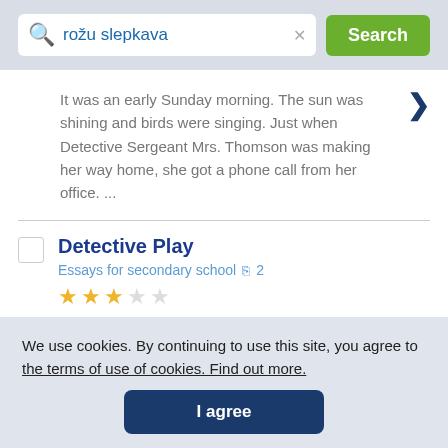[Figure (screenshot): Search bar with query 'rožu slepkava', clear button, and green Search button on a grey background]
It was an early Sunday morning. The sun was shining and birds were singing. Just when Detective Sergeant Mrs. Thomson was making her way home, she got a phone call from her office. ...
Detective Play
Essays for secondary school  2
★★★☆☆
The police man talked to all of the
We use cookies. By continuing to use this site, you agree to the terms of use of cookies. Find out more.
I agree